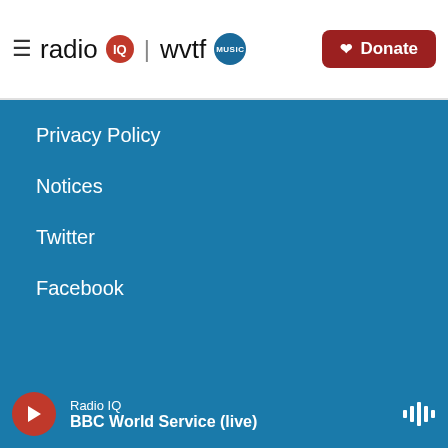radio IQ | wvtf MUSIC — Donate
Privacy Policy
Notices
Twitter
Facebook
[Figure (logo): Partner logos row 1: NPR, American Public Media, BBC]
[Figure (logo): Partner logos row 2: PRX, VEA Virginia Education Association, Virginia Public Radio]
Radio IQ — BBC World Service (live)